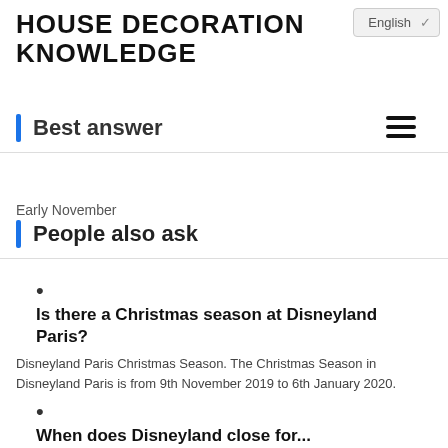HOUSE DECORATION KNOWLEDGE
English
Best answer
Early November
People also ask
Is there a Christmas season at Disneyland Paris?
Disneyland Paris Christmas Season. The Christmas Season in Disneyland Paris is from 9th November 2019 to 6th January 2020.
When does Disneyland close for...